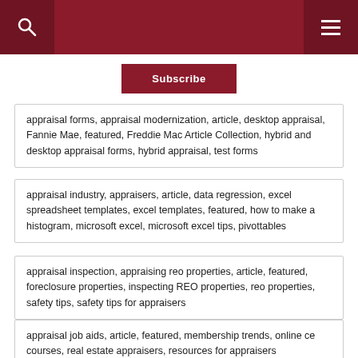[Figure (other): Dark red header bar with search icon on left and hamburger menu icon on right]
Subscribe
appraisal forms, appraisal modernization, article, desktop appraisal, Fannie Mae, featured, Freddie Mac Article Collection, hybrid and desktop appraisal forms, hybrid appraisal, test forms
appraisal industry, appraisers, article, data regression, excel spreadsheet templates, excel templates, featured, how to make a histogram, microsoft excel, microsoft excel tips, pivottables
appraisal inspection, appraising reo properties, article, featured, foreclosure properties, inspecting REO properties, reo properties, safety tips, safety tips for appraisers
appraisal job aids, article, featured, membership trends, online ce courses, real estate appraisers, resources for appraisers